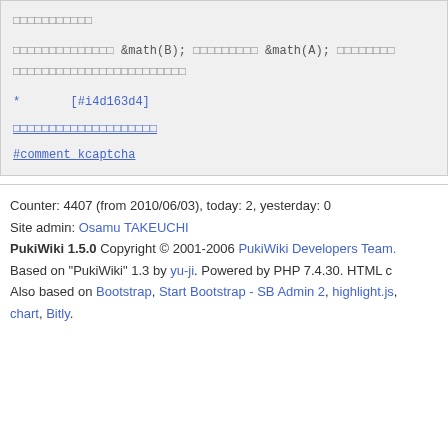（Japanese characters） &math(B); （Japanese characters） &math(A); （Japanese characters）（Japanese characters）
*       [#i4d163d4]
（Japanese characters link）
#comment_kcaptcha
Counter: 4407 (from 2010/06/03), today: 2, yesterday: 0
Site admin: Osamu TAKEUCHI
PukiWiki 1.5.0 Copyright © 2001-2006 PukiWiki Developers Team.
Based on "PukiWiki" 1.3 by yu-ji. Powered by PHP 7.4.30. HTML c...
Also based on Bootstrap, Start Bootstrap - SB Admin 2, highlight.js,
chart, Bitly.